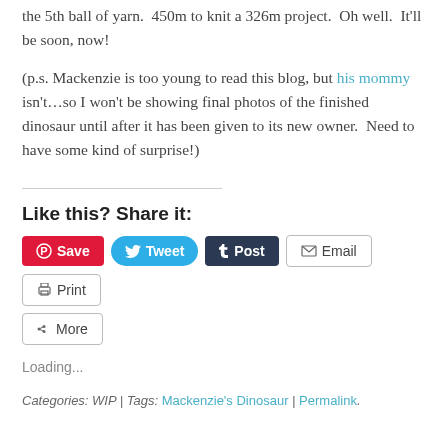the 5th ball of yarn.  450m to knit a 326m project.  Oh well.  It'll be soon, now!
(p.s. Mackenzie is too young to read this blog, but his mommy isn't…so I won't be showing final photos of the finished dinosaur until after it has been given to its new owner.  Need to have some kind of surprise!)
Like this? Share it:
[Figure (other): Social share buttons: Save (Pinterest), Tweet (Twitter), Post (Tumblr), Email, Print, More]
Loading...
Categories: WIP | Tags: Mackenzie's Dinosaur | Permalink.